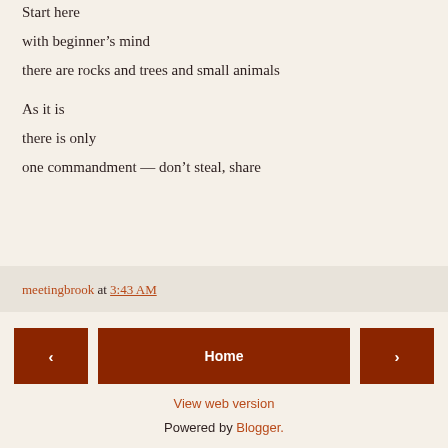Start here
with beginner's mind
there are rocks and trees and small animals
As it is
there is only
one commandment — don't steal, share
meetingbrook at 3:43 AM
< Home > View web version Powered by Blogger.